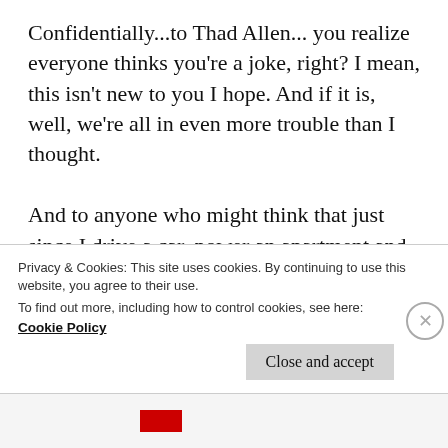Confidentially...to Thad Allen... you realize everyone thinks you're a joke, right? I mean, this isn't new to you I hope. And if it is, well, we're all in even more trouble than I thought.

And to anyone who might think that just since I drive a car, power an apartment and a computer I should back off because I need the oil that BP sells...blow me. I might also need to undergo surgery someday, but that doesn't mean that if the doctor sews up some gauze in my chest I
Privacy & Cookies: This site uses cookies. By continuing to use this website, you agree to their use.
To find out more, including how to control cookies, see here:
Cookie Policy
Close and accept